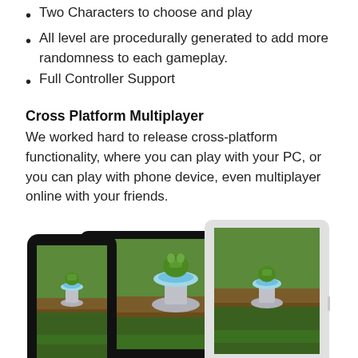Two Characters to choose and play
All level are procedurally generated to add more randomness to each gameplay.
Full Controller Support
Cross Platform Multiplayer
We worked hard to release cross-platform functionality, where you can play with your PC, or you can play with phone device, even multiplayer online with your friends.
[Figure (photo): Three devices (tablet landscape in black, iPad in white/gray, and iPhone in black) all displaying the same 2D game scene featuring a green environment with a fountain pedestal and characters]